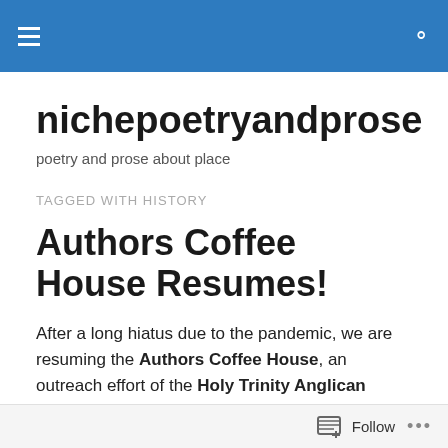nichepoetryandprose — navigation header bar
nichepoetryandprose
poetry and prose about place
TAGGED WITH HISTORY
Authors Coffee House Resumes!
After a long hiatus due to the pandemic, we are resuming the Authors Coffee House, an outreach effort of the Holy Trinity Anglican Church in Nasonworth. We have held
Follow ...